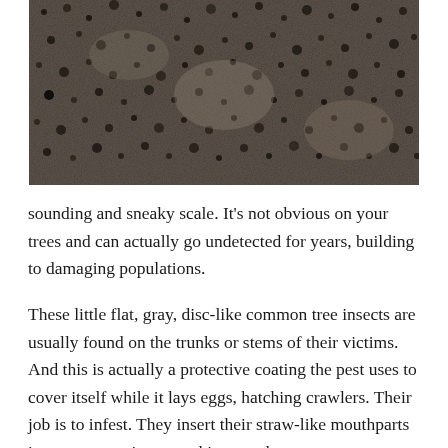[Figure (photo): Close-up photograph of gloomy scale insects densely covering tree bark, appearing as small dark bumpy clusters on a rough gray-brown surface.]
sounding and sneaky scale. It's not obvious on your trees and can actually go undetected for years, building to damaging populations.
These little flat, gray, disc-like common tree insects are usually found on the trunks or stems of their victims. And this is actually a protective coating the pest uses to cover itself while it lays eggs, hatching crawlers. Their job is to infest. They insert their straw-like mouthparts into your tree tissue, sucking out the contents.
You will typically find gloomy scales on maples, particularly red maples. If you don't spot the pests, red maples will usually show